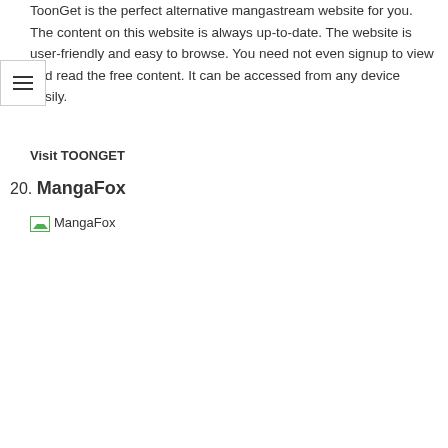ToonGet is the perfect alternative mangastream website for you. The content on this website is always up-to-date. The website is user-friendly and easy to browse. You need not even signup to view and read the free content. It can be accessed from any device easily.
Visit TOONGET
20. MangaFox
[Figure (other): Broken image placeholder labeled MangaFox]